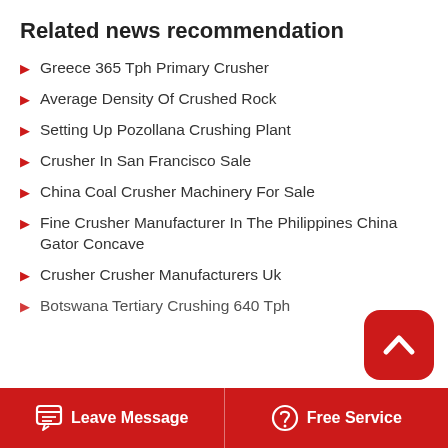Related news recommendation
Greece 365 Tph Primary Crusher
Average Density Of Crushed Rock
Setting Up Pozollana Crushing Plant
Crusher In San Francisco Sale
China Coal Crusher Machinery For Sale
Fine Crusher Manufacturer In The Philippines China Gator Concave
Crusher Crusher Manufacturers Uk
Botswana Tertiary Crushing 640 Tph
Leave Message   Free Service